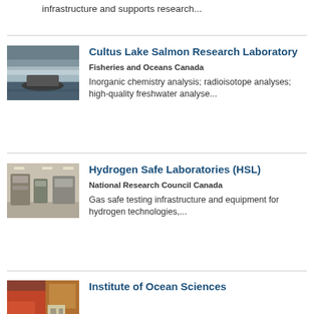infrastructure and supports research...
[Figure (photo): A boat on a lake with mountains and mist in the background]
Cultus Lake Salmon Research Laboratory
Fisheries and Oceans Canada
Inorganic chemistry analysis; radioisotope analyses; high-quality freshwater analyse...
[Figure (photo): Interior of a laboratory with equipment and machinery]
Hydrogen Safe Laboratories (HSL)
National Research Council Canada
Gas safe testing infrastructure and equipment for hydrogen technologies,...
[Figure (photo): Red and orange foliage with a structure visible]
Institute of Ocean Sciences